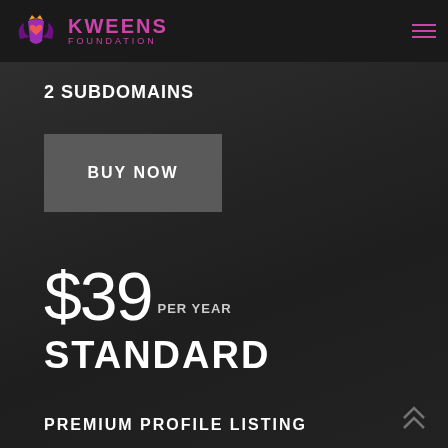Kweens Foundation
5 BONUS POINTS EVERY MONTH
SUPPORT
2 SUBDOMAINS
BUY NOW
$39 PER YEAR
STANDARD
PREMIUM PROFILE LISTING